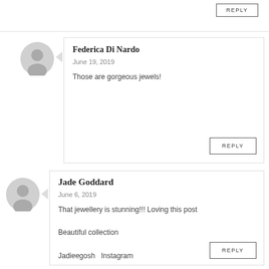REPLY
Federica Di Nardo
June 19, 2019
Those are gorgeous jewels!
REPLY
Jade Goddard
June 6, 2019
That jewellery is stunning!!! Loving this post

Beautiful collection

Jadieegosh   Instagram
REPLY